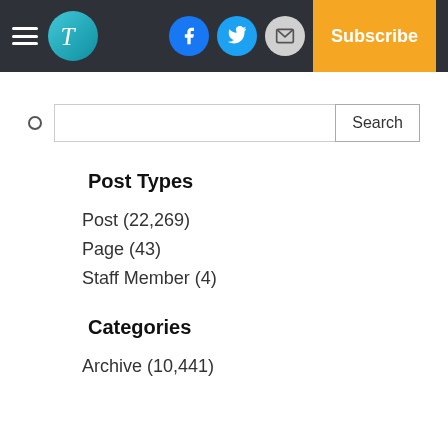Subscribe
Search
Post Types
Post (22,269)
Page (43)
Staff Member (4)
Categories
Archive (10,441)